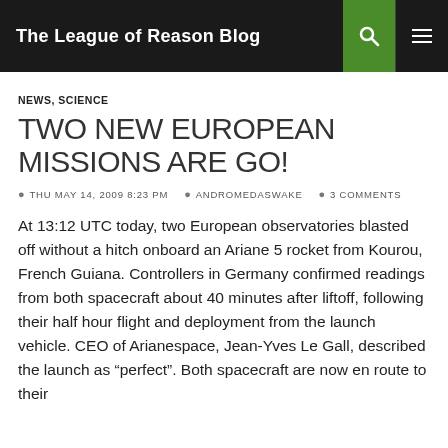The League of Reason Blog
NEWS, SCIENCE
TWO NEW EUROPEAN MISSIONS ARE GO!
THU MAY 14, 2009 8:23 PM  ANDROMEDASWAKE  3 COMMENTS
At 13:12 UTC today, two European observatories blasted off without a hitch onboard an Ariane 5 rocket from Kourou, French Guiana. Controllers in Germany confirmed readings from both spacecraft about 40 minutes after liftoff, following their half hour flight and deployment from the launch vehicle. CEO of Arianespace, Jean-Yves Le Gall, described the launch as “perfect”. Both spacecraft are now en route to their